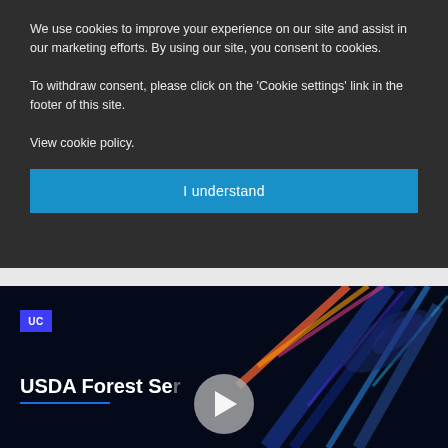We use cookies to improve your experience on our site and assist in our marketing efforts. By using our site, you consent to cookies.
To withdraw consent, please click on the 'Cookie settings' link in the footer of this site.
View cookie policy.
I understand
[Figure (screenshot): Video thumbnail showing 'USDA Forest Se[rvice]' title with UC badge logo, play button overlay, and colorful abstract graphic art on dark background]